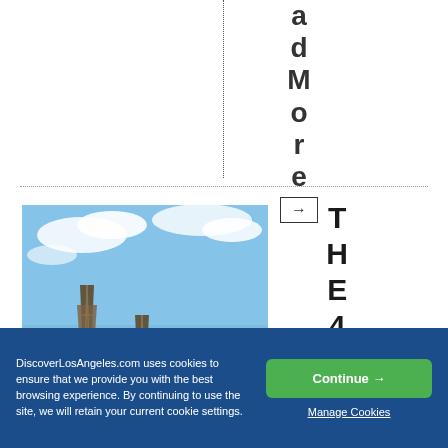adMore →
[Figure (photo): Watts Towers in Los Angeles photographed from below against a blue sky with wispy clouds]
THE48
DiscoverLosAngeles.com uses cookies to ensure that we provide you with the best browsing experience. By continuing to use the site, we will retain your current cookie settings.
Continue →
Manage Cookies